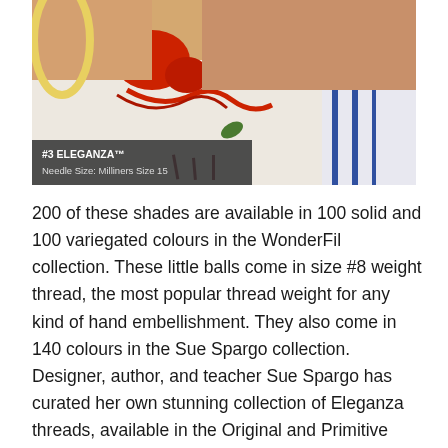[Figure (photo): Close-up photo of hands doing embroidery with red thread on white fabric using a needle, with a yellow embroidery hoop visible. Overlay label reads '#3 ELEGANZA™ Needle Size: Milliners Size 15'.]
200 of these shades are available in 100 solid and 100 variegated colours in the WonderFil collection. These little balls come in size #8 weight thread, the most popular thread weight for any kind of hand embellishment. They also come in 140 colours in the Sue Spargo collection. Designer, author, and teacher Sue Spargo has curated her own stunning collection of Eleganza threads, available in the Original and Primitive colour collections. You'll find the #8 weight spools of Eleganza have double the amount of thread on them as the balls in the WonderFil collection.